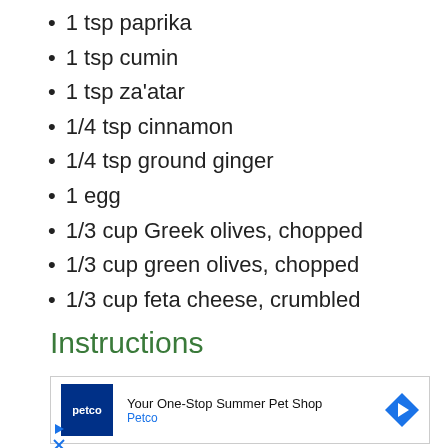1 tsp paprika
1 tsp cumin
1 tsp za'atar
1/4 tsp cinnamon
1/4 tsp ground ginger
1 egg
1/3 cup Greek olives, chopped
1/3 cup green olives, chopped
1/3 cup feta cheese, crumbled
Instructions
[Figure (other): Advertisement banner for Petco: 'Your One-Stop Summer Pet Shop' with Petco logo and navigation arrow icon]